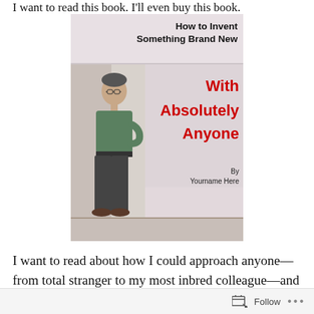I want to read this book. I'll even buy this book.
[Figure (illustration): A humorous fake book cover titled 'How to Invent Something Brand New With Absolutely Anyone', featuring a photo of a middle-aged man in a green shirt and dark pants leaning against a wall, credited to 'By Yourname Here'.]
I want to read about how I could approach anyone—from total stranger to my most inbred colleague—and engage in